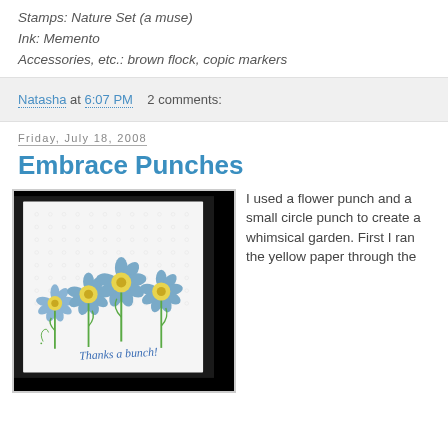Stamps: Nature Set (a muse)
Ink: Memento
Accessories, etc.: brown flock, copic markers
Natasha at 6:07 PM    2 comments:
Friday, July 18, 2008
Embrace Punches
[Figure (photo): A handmade greeting card with blue gingham flower punches on white embossed dot paper. Four daisy-like flowers with yellow centers and green stems. The card reads 'Thanks a bunch!' in blue script at the bottom.]
I used a flower punch and a small circle punch to create a whimsical garden. First I ran the yellow paper through the